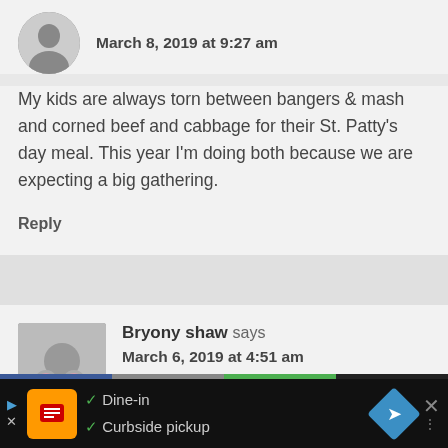[Figure (photo): Circular grayscale avatar photo of a woman smiling]
March 8, 2019 at 9:27 am
My kids are always torn between bangers & mash and corned beef and cabbage for their St. Patty's day meal. This year I'm doing both because we are expecting a big gathering.
Reply
[Figure (photo): Small color photo of a woman with children]
Bryony shaw says
March 6, 2019 at 4:51 am
[Figure (screenshot): Ad bar at bottom: restaurant ad showing Dine-in and Curbside pickup options]